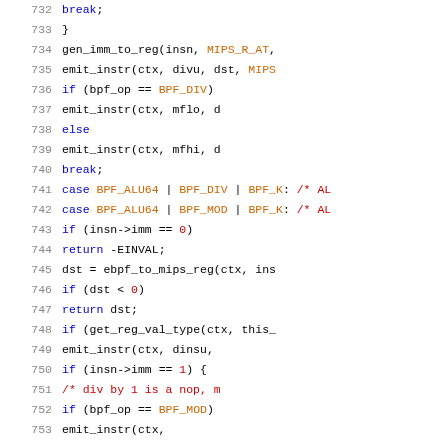[Figure (screenshot): Source code listing showing C code for MIPS BPF JIT compiler, lines 732-753, with syntax highlighting. Keywords in blue, comments in red, macros in orange.]